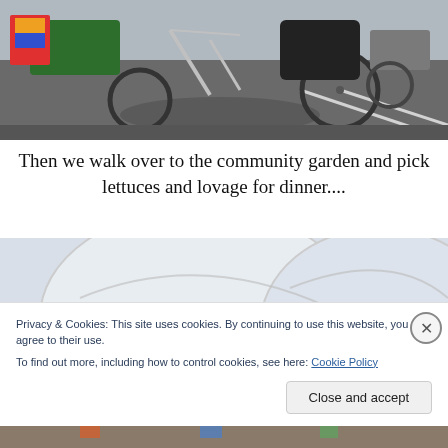[Figure (photo): Outdoor photo showing bicycles and pedicab-style vehicles parked in a parking lot or street area. Colorful fabric visible on the left side. Taken in bright sunlight.]
Then we walk over to the community garden and pick lettuces and lovage for dinner....
[Figure (photo): Close-up photo of what appears to be large round light-colored objects, possibly bowls or garden features, with a pale sky background.]
Privacy & Cookies: This site uses cookies. By continuing to use this website, you agree to their use.
To find out more, including how to control cookies, see here: Cookie Policy
Close and accept